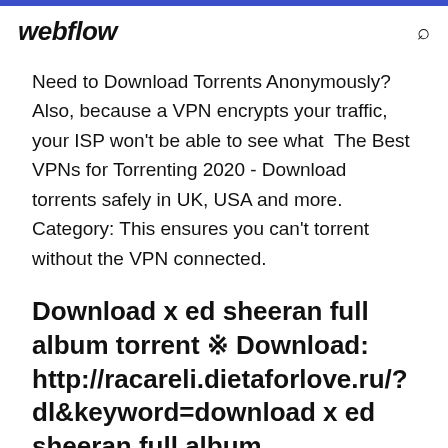webflow
Need to Download Torrents Anonymously? Also, because a VPN encrypts your traffic, your ISP won't be able to see what  The Best VPNs for Torrenting 2020 - Download torrents safely in UK, USA and more. Category: This ensures you can't torrent without the VPN connected.
Download x ed sheeran full album torrent ※ Download: http://racareli.dietaforlove.ru/?dl&keyword=download x ed sheeran full album torrent&source=bitbin.it2 Be sure to sho...